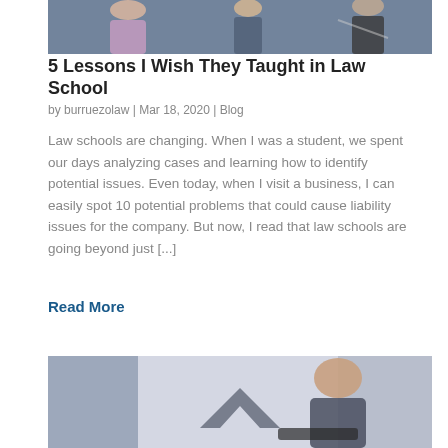[Figure (photo): Top portion of photo showing people in a meeting or study setting, partially cropped]
5 Lessons I Wish They Taught in Law School
by burruezolaw | Mar 18, 2020 | Blog
Law schools are changing. When I was a student, we spent our days analyzing cases and learning how to identify potential issues. Even today, when I visit a business, I can easily spot 10 potential problems that could cause liability issues for the company. But now, I read that law schools are going beyond just [...]
Read More
[Figure (photo): Photo of a woman with long dark hair sitting at a laptop, partially visible, with a chevron/arrow-up symbol overlaid in the center of the image]